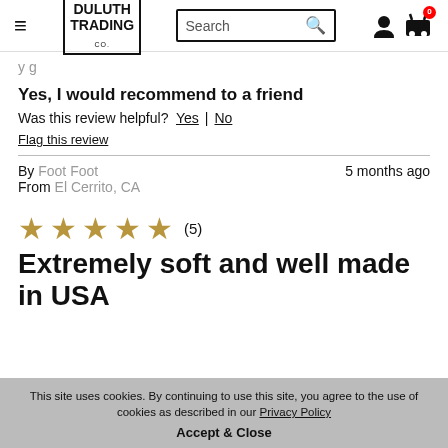Duluth Trading Co. — Search bar, user icon, cart
Yes, I would recommend to a friend
Was this review helpful? Yes | No
Flag this review
By Foot Foot   5 months ago
From El Cerrito, CA
[Figure (other): 5 gold stars rating]
Extremely soft and well made in USA
This site uses cookies. By continuing to use this site, you agree to the use of cookies as described in our Privacy Policy
Accept & Close